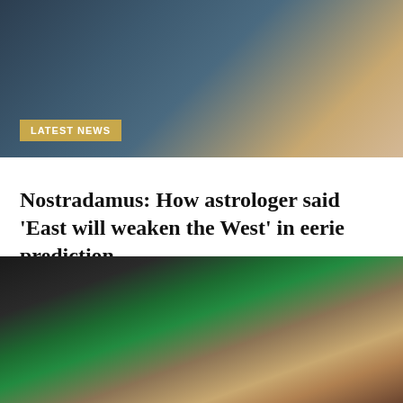[Figure (photo): Photo of a person in a dark leather jacket, blurred background]
Nostradamus: How astrologer said ‘East will weaken the West’ in eerie prediction
[#item_full_content]
By  ○ March 6, 2022
[Figure (photo): Close-up photo of a green bottle/syringe with blurred euro banknotes in the background]